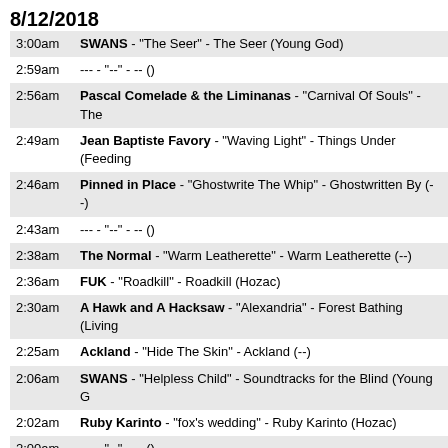8/12/2018
| Time | Entry |
| --- | --- |
| 3:00am | SWANS - "The Seer" - The Seer (Young God) |
| 2:59am | --- "--" - -- () |
| 2:56am | Pascal Comelade & the Liminanas - "Carnival Of Souls" - The |
| 2:49am | Jean Baptiste Favory - "Waving Light" - Things Under (Feeding |
| 2:46am | Pinned in Place - "Ghostwrite The Whip" - Ghostwritten By (--) |
| 2:43am | --- "--" - -- () |
| 2:38am | The Normal - "Warm Leatherette" - Warm Leatherette (--) |
| 2:36am | FUK - "Roadkill" - Roadkill (Hozac) |
| 2:30am | A Hawk and A Hacksaw - "Alexandria" - Forest Bathing (Living |
| 2:25am | Ackland - "Hide The Skin" - Ackland (--) |
| 2:06am | SWANS - "Helpless Child" - Soundtracks for the Blind (Young G |
| 2:02am | Ruby Karinto - "fox's wedding" - Ruby Karinto (Hozac) |
| 2:00am | --- "--" - -- () |
| 1:56am | Chris Carter's Chemistry Lessons - "Modularity" - Volume On |
| 1:46am | Malditos - "Le Reve" - Le Reve (Svart) |
| 1:45am | --- "--" - -- () |
| 1:39am | Mutant Video - "Managed" - Vanity Of Life (Iron Lung) |